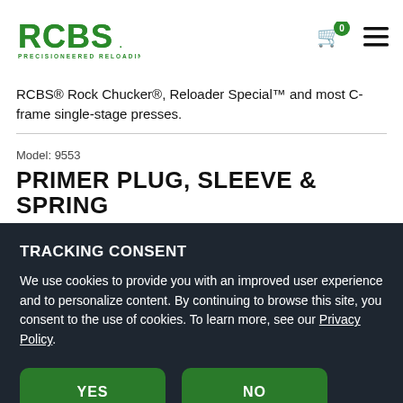[Figure (logo): RCBS logo with 'PRECISIONEERED RELOADING' tagline in green]
RCBS® Rock Chucker®, Reloader Special™ and most C-frame single-stage presses.
Model: 9553
PRIMER PLUG, SLEEVE & SPRING
★★★★★ 7 Reviews
TRACKING CONSENT
We use cookies to provide you with an improved user experience and to personalize content. By continuing to browse this site, you consent to the use of cookies. To learn more, see our Privacy Policy.
YES
NO